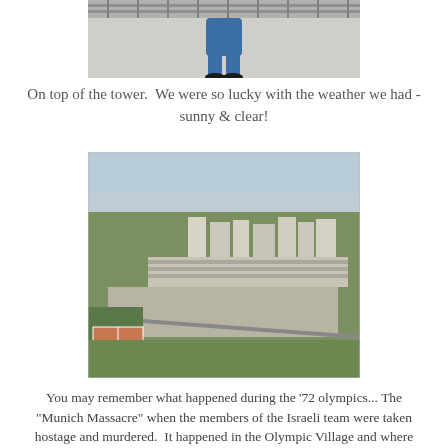[Figure (photo): Partial photo of a person standing on top of a tower observation deck, showing from waist down, wearing jeans; concrete surface and metal railing visible in background]
On top of the tower.  We were so lucky with the weather we had - sunny & clear!
[Figure (photo): Aerial photograph taken from a tower showing an urban area with apartment buildings, residential neighborhoods, greenery, roads and tennis courts in what appears to be Munich's Olympic Village area]
You may remember what happened during the '72 olympics... The "Munich Massacre" when the members of the Israeli team were taken hostage and murdered.  It happened in the Olympic Village and where they were murdered is now a memorial area.